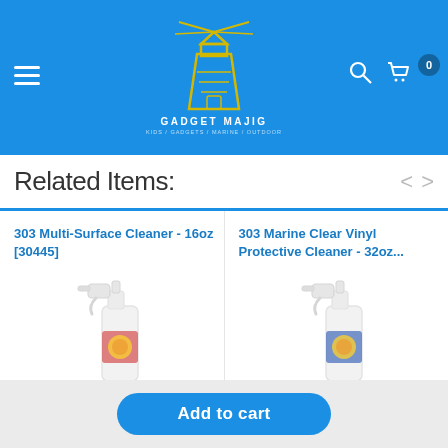Gadget Majig - Kids / Gadgets / Marine / Outdoor
Related Items:
303 Multi-Surface Cleaner - 16oz [30445]
[Figure (photo): Spray bottle of 303 Multi-Surface Cleaner 16oz with red label]
303 Marine Clear Vinyl Protective Cleaner - 32oz...
[Figure (photo): Spray bottle of 303 Marine Clear Vinyl Protective Cleaner 32oz with blue label]
Add to cart